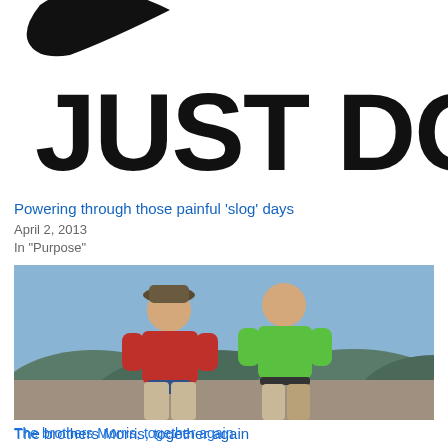[Figure (photo): Nike 'Just Do It.' logo with swoosh at top, black text on white background]
Powering through those painful ‘slog’ days
April 2, 2013
In “Purpose”
[Figure (photo): Two men standing on a mountain summit with green rolling mountains in the background. The man on the left wears a red shirt and the man on the right wears a bright green shirt. Both wear khaki shorts/pants.]
The brothers Morris, together again
September 20, 2012
In “Happiness”